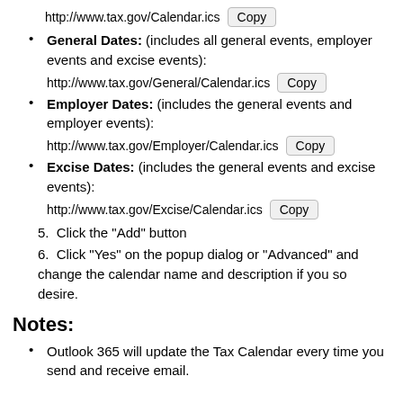General Dates: (includes all general events, employer events and excise events): http://www.tax.gov/General/Calendar.ics [Copy]
Employer Dates: (includes the general events and employer events): http://www.tax.gov/Employer/Calendar.ics [Copy]
Excise Dates: (includes the general events and excise events): http://www.tax.gov/Excise/Calendar.ics [Copy]
5. Click the "Add" button
6. Click "Yes" on the popup dialog or "Advanced" and change the calendar name and description if you so desire.
Notes:
Outlook 365 will update the Tax Calendar every time you send and receive email.